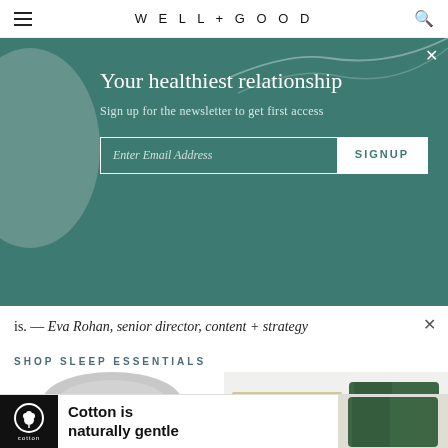WELL+GOOD
[Figure (screenshot): Newsletter signup modal overlay with teal/green background. Title: 'Your healthiest relationship'. Subtitle: 'Sign up for the newsletter to get first access'. Email input field with SIGNUP button.]
is. — Eva Rohan, senior director, content + strategy
SHOP SLEEP ESSENTIALS
[Figure (photo): Gray fabric cylindrical pillow/bolster product photo on white background]
[Figure (photo): Floral patterned bedding/sheets product photo on light gray background with green clothing item visible]
[Figure (photo): Cotton advertisement banner: cotton logo on black background, text 'Cotton is naturally gentle', green garment image on right]